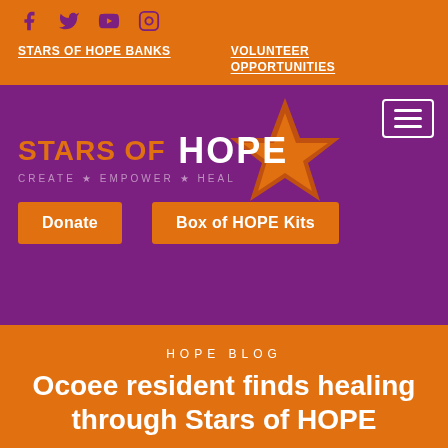[Figure (other): Social media icons: Facebook, Twitter, YouTube, Instagram in purple on orange background]
STARS OF HOPE BANKS
VOLUNTEER OPPORTUNITIES
[Figure (logo): Stars of HOPE logo with orange star graphic and tagline CREATE * EMPOWER * HEAL on purple background, with hamburger menu icon top right, and two orange buttons: Donate and Box of HOPE Kits]
HOPE BLOG
Ocoee resident finds healing through Stars of HOPE